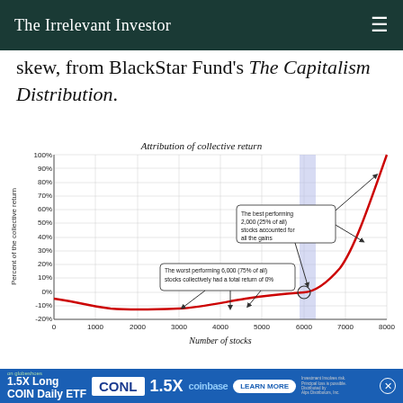The Irrelevant Investor
skew, from BlackStar Fund's The Capitalism Distribution.
[Figure (continuous-plot): An exponential curve showing attribution of collective return vs number of stocks (0-8000). The curve stays near 0% or slightly negative for the first 6000 stocks (75% of all), then rises sharply to ~100% at 8000 stocks. A vertical shaded band at ~6000 marks the boundary. Annotations: 'The worst performing 6,000 (75% of all) stocks collectively had a total return of 0%' pointing to the flat region; 'The best performing 2,000 (25% of all) stocks accounted for all the gains' pointing to the rising right portion.]
If I were in the business of picking stocks, I would be counting on a small number to do the worst and a small number to be the best,